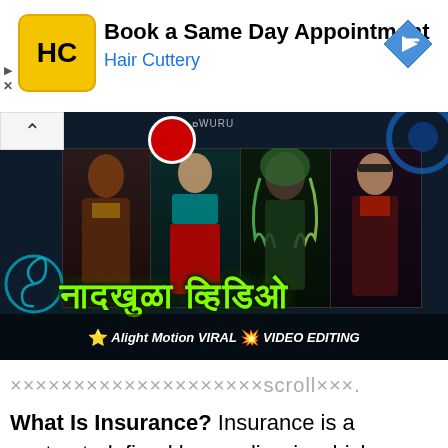[Figure (infographic): Hair Cuttery advertisement banner with yellow HC logo, text 'Book a Same Day Appointment' and 'Hair Cuttery' in blue, plus a blue diamond arrow icon on the right. Play and X icons on the left edge.]
[Figure (photo): Video thumbnail showing four Indian women in traditional/stylish attire against a dark background, with large decorative Hindi text and subtext '★Alight Motion VIRAL 💥VIDEO EDITING'. A red/white circular logo and watermark text visible at top. There is a chevron/collapse button on the left.]
×××××××××××××××××××scroll×××.
What Is Insurance? Insurance is a contract, defined by a policy, in which an individual or